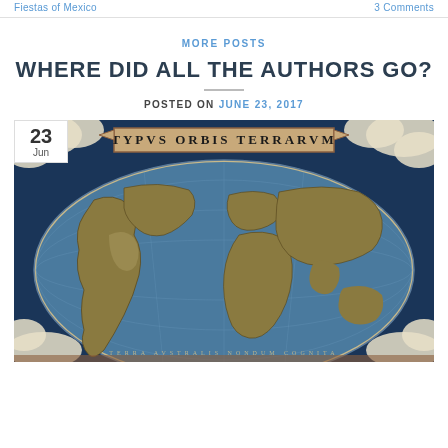Fiestas of Mexico | 3 Comments
MORE POSTS
WHERE DID ALL THE AUTHORS GO?
POSTED ON JUNE 23, 2017
[Figure (map): Antique world map titled TYPVS ORBIS TERRARVM showing old cartographic style with decorative clouds and Latin text. Date badge overlay showing 23 Jun.]